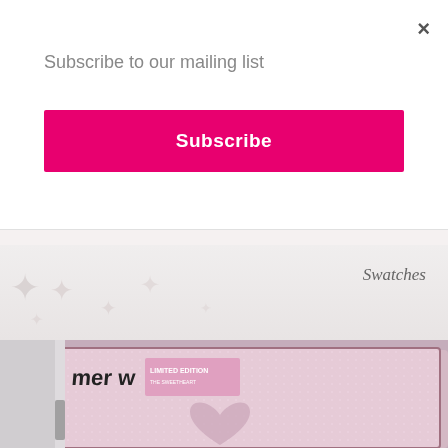×
Subscribe to our mailing list
Subscribe
[Figure (photo): Background image - light pink/cream surface partially visible behind modal overlay]
Swatches
[Figure (photo): Close-up photo of an open makeup eyeshadow compact (MeNow Limited Edition) showing a shimmery pink/rose gold highlighter with a heart cutout design, in a clear plastic case]